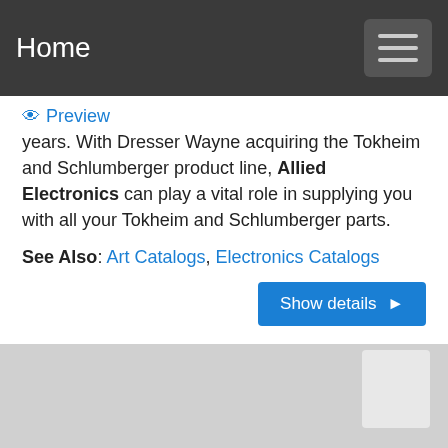Home
years. With Dresser Wayne acquiring the Tokheim and Schlumberger product line, Allied Electronics can play a vital role in supplying you with all your Tokheim and Schlumberger parts.
See Also: Art Catalogs, Electronics Catalogs
Show details ▶